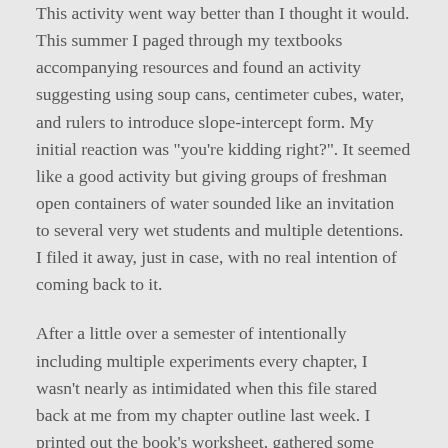This activity went way better than I thought it would. This summer I paged through my textbooks accompanying resources and found an activity suggesting using soup cans, centimeter cubes, water, and rulers to introduce slope-intercept form. My initial reaction was "you're kidding right?". It seemed like a good activity but giving groups of freshman open containers of water sounded like an invitation to several very wet students and multiple detentions. I filed it away, just in case, with no real intention of coming back to it.
After a little over a semester of intentionally including multiple experiments every chapter, I wasn't nearly as intimidated when this file stared back at me from my chapter outline last week. I printed out the book's worksheet, gathered some resources for the next day and went home. The morning of, I decided to rework the task a bit (a have both the original and my file at the end of this post).
The students did swimmingly. Every student was on task for